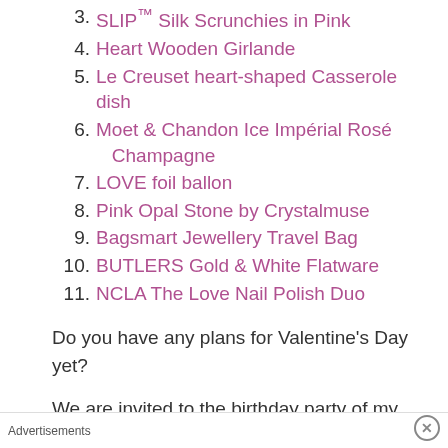3. SLIP™ Silk Scrunchies in Pink
4. Heart Wooden Girlande
5. Le Creuset heart-shaped Casserole dish
6. Moet & Chandon Ice Impérial Rosé Champagne
7. LOVE foil ballon
8. Pink Opal Stone by Crystalmuse
9. Bagsmart Jewellery Travel Bag
10. BUTLERS Gold & White Flatware
11. NCLA The Love Nail Polish Duo
Do you have any plans for Valentine's Day yet?
We are invited to the birthday party of my boyfriend's boss. Let's see how this goes 🙂 But
Advertisements